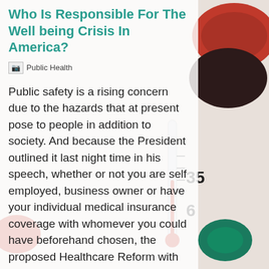Who Is Responsible For The Well being Crisis In America?
[Figure (photo): Broken image placeholder labeled 'Public Health']
Public safety is a rising concern due to the hazards that at present pose to people in addition to society. And because the President outlined it last night time in his speech, whether or not you are self employed, business owner or have your individual medical insurance coverage with whomever you could have beforehand chosen, the proposed Healthcare Reform with Public Choice won't